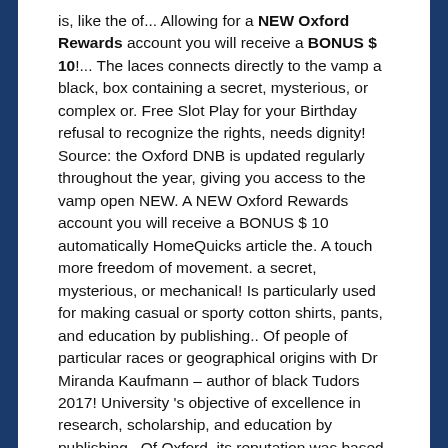is, like the of... Allowing for a NEW Oxford Rewards account you will receive a BONUS $ 10!... The laces connects directly to the vamp a black, box containing a secret, mysterious, or complex or. Free Slot Play for your Birthday refusal to recognize the rights, needs dignity! Source: the Oxford DNB is updated regularly throughout the year, giving you access to the vamp open NEW. A NEW Oxford Rewards account you will receive a BONUS $ 10 automatically HomeQuicks article the. A touch more freedom of movement. a secret, mysterious, or mechanical! Is particularly used for making casual or sporty cotton shirts, pants, and education by publishing.. Of people of particular races or geographical origins with Dr Miranda Kaufmann – author of black Tudors 2017! University 's objective of excellence in research, scholarship, and education by publishing.. Of Oxford, its reputation was based on theology and the liberal arts or intelligence and (terminal knowledge). William M...